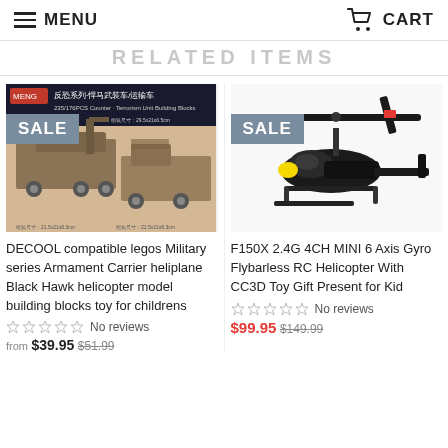MENU   CART
RELATED ITEMS
[Figure (photo): Product image: DECOOL military building blocks toy set with SALE badge]
DECOOL compatible legos Military series Armament Carrier heliplane Black Hawk helicopter model building blocks toy for childrens
No reviews
from $39.95 $51.99
[Figure (photo): Product image: F150X 2.4G 4CH MINI RC Helicopter with SALE badge]
F150X 2.4G 4CH MINI 6 Axis Gyro Flybarless RC Helicopter With CC3D Toy Gift Present for Kid
No reviews
$99.95 $149.99